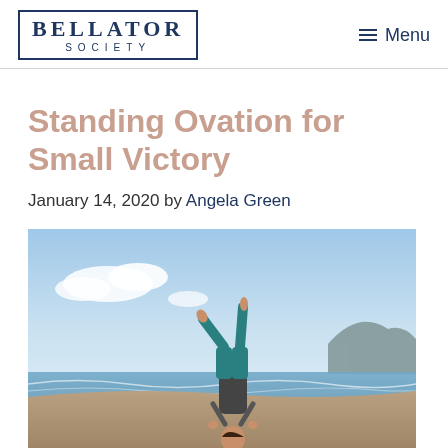BELLATOR SOCIETY | Menu
Standing Ovation for Small Victory
January 14, 2020 by Angela Green
[Figure (photo): Person doing a handstand on a beach with blue sky and mountains in the background]